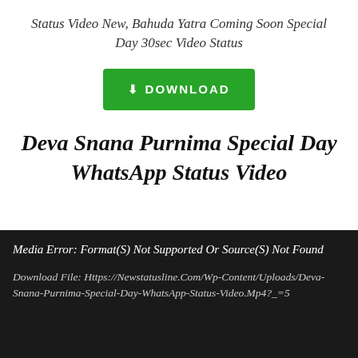Status Video New, Bahuda Yatra Coming Soon Special Day 30sec Video Status
[Figure (other): Green download button with download arrow icon and text DOWNLOAD]
Deva Snana Purnima Special Day WhatsApp Status Video
Media Error: Format(S) Not Supported Or Source(S) Not Found

Download File: Https://Newstatusline.Com/Wp-Content/Uploads/Deva-Snana-Purnima-Special-Day-WhatsApp-Status-Video.Mp4?_=5